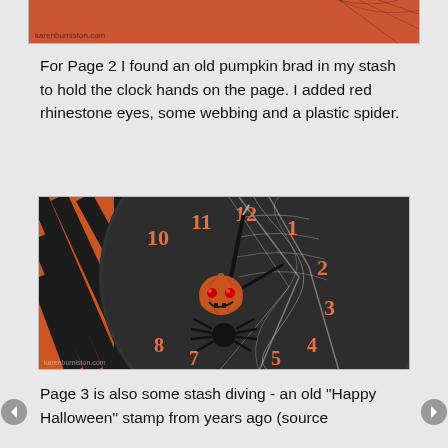[Figure (photo): Top cropped photo showing orange pumpkin with spider web and 'karenburniston.com' watermark visible at bottom left]
For Page 2 I found an old pumpkin brad in my stash to hold the clock hands on the page. I added red rhinestone eyes, some webbing and a plastic spider.
[Figure (photo): Close-up photo of a Halloween clock face craft project with dark background, orange numbers (10, 11, 12, 1, 2, 3, 4, 5, 7), a pumpkin-shaped brad with red rhinestone eyes in the center, black clock hands, spider webbing across the clock, and a plastic black spider. Orange tiger-striped element visible on left side. Watermark 'karenburniston.com' at bottom left.]
Page 3 is also some stash diving - an old "Happy Halloween" stamp from years ago (source